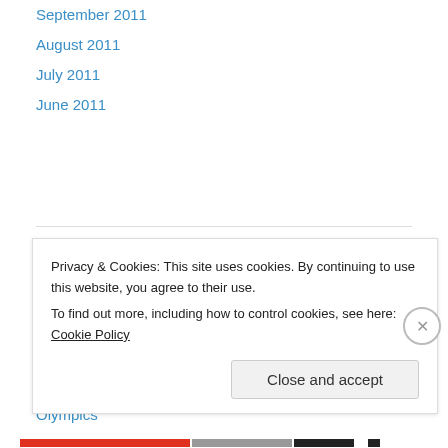September 2011
August 2011
July 2011
June 2011
Categories
Belleville Senators
Binghamton Senators
Free Agency
NHL Draft
Olympics
Ottawa Draft
Privacy & Cookies: This site uses cookies. By continuing to use this website, you agree to their use.
To find out more, including how to control cookies, see here: Cookie Policy
Close and accept